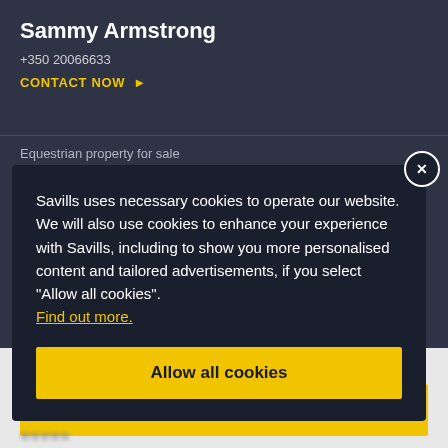Sammy Armstrong
+350 20066633
CONTACT NOW ▶
Equestrian property for sale
Savills uses necessary cookies to operate our website. We will also use cookies to enhance your experience with Savills, including to show you more personalised content and tailored advertisements, if you select "Allow all cookies". Find out more.
Allow all cookies
Property for sale in Australia
Request details